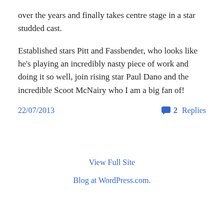over the years and finally takes centre stage in a star studded cast.
Established stars Pitt and Fassbender, who looks like he’s playing an incredibly nasty piece of work and doing it so well, join rising star Paul Dano and the incredible Scoot McNairy who I am a big fan of!
22/07/2013
2 Replies
View Full Site
Blog at WordPress.com.